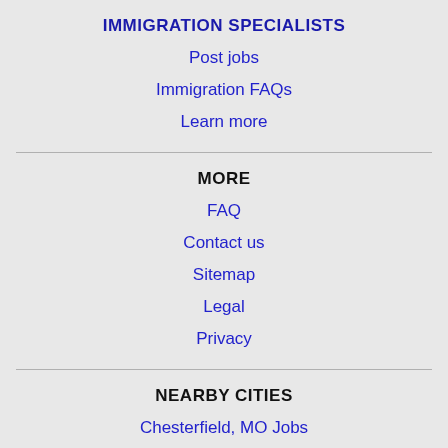IMMIGRATION SPECIALISTS
Post jobs
Immigration FAQs
Learn more
MORE
FAQ
Contact us
Sitemap
Legal
Privacy
NEARBY CITIES
Chesterfield, MO Jobs
Florissant, MO Jobs
O'Fallon, MO Jobs